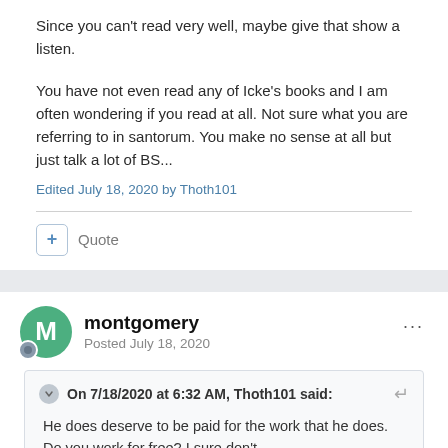Since you can't read very well, maybe give that show a listen.
You have not even read any of Icke's books and I am often wondering if you read at all. Not sure what you are referring to in santorum. You make no sense at all but just talk a lot of BS...
Edited July 18, 2020 by Thoth101
Quote
montgomery
Posted July 18, 2020
On 7/18/2020 at 6:32 AM, Thoth101 said:
He does deserve to be paid for the work that he does. Do you work for free? I sure don't.